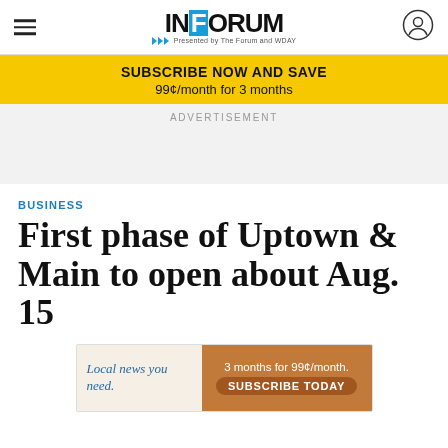INFORUM
SUBSCRIBE NOW AND SAVE
99¢/month for 3 months
ADVERTISEMENT
BUSINESS
First phase of Uptown & Main to open about Aug. 15
[Figure (other): Advertisement banner: Local news you need. 3 months for 99¢/month. SUBSCRIBE TODAY]